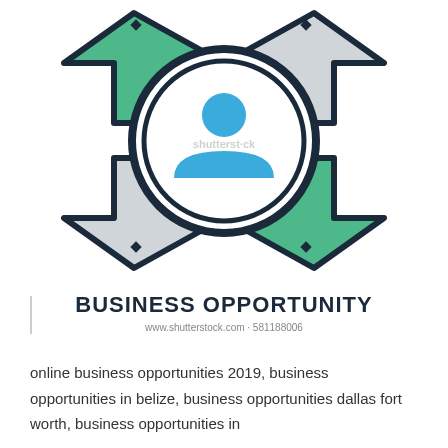[Figure (illustration): Business opportunity icon: a person silhouette inside a circular gear/ring, surrounded by four arrows pointing outward in four diagonal directions, with green and light gray colored quadrant backgrounds. Shutterstock watermark overlay.]
BUSINESS OPPORTUNITY
www.shutterstock.com · 581188006
online business opportunities 2019, business opportunities in belize, business opportunities dallas fort worth, business opportunities in